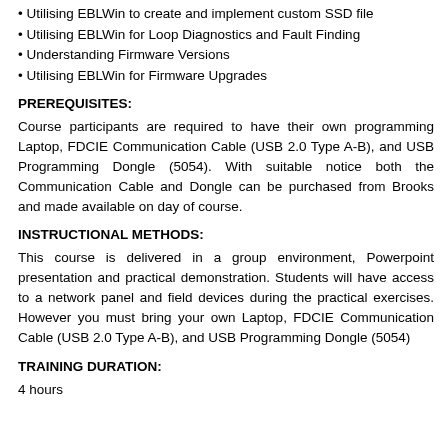• Utilising EBLWin to create and implement custom SSD file
• Utilising EBLWin for Loop Diagnostics and Fault Finding
• Understanding Firmware Versions
• Utilising EBLWin for Firmware Upgrades
PREREQUISITES:
Course participants are required to have their own programming Laptop, FDCIE Communication Cable (USB 2.0 Type A-B), and USB Programming Dongle (5054). With suitable notice both the Communication Cable and Dongle can be purchased from Brooks and made available on day of course.
INSTRUCTIONAL METHODS:
This course is delivered in a group environment, Powerpoint presentation and practical demonstration. Students will have access to a network panel and field devices during the practical exercises. However you must bring your own Laptop, FDCIE Communication Cable (USB 2.0 Type A-B), and USB Programming Dongle (5054)
TRAINING DURATION:
4 hours